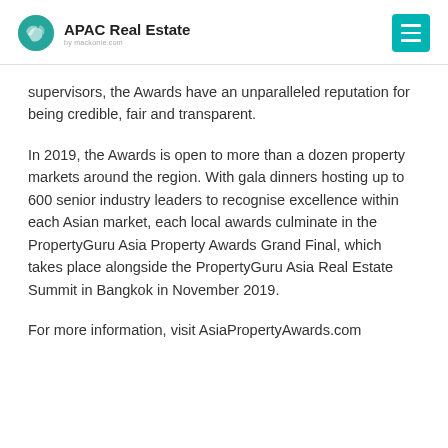APAC Real Estate
supervisors, the Awards have an unparalleled reputation for being credible, fair and transparent.
In 2019, the Awards is open to more than a dozen property markets around the region. With gala dinners hosting up to 600 senior industry leaders to recognise excellence within each Asian market, each local awards culminate in the PropertyGuru Asia Property Awards Grand Final, which takes place alongside the PropertyGuru Asia Real Estate Summit in Bangkok in November 2019.
For more information, visit AsiaPropertyAwards.com